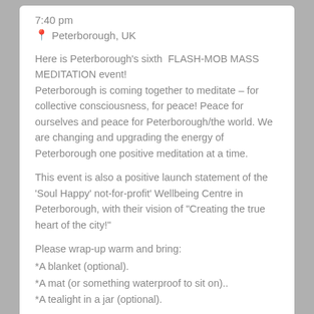7:40 pm
📍 Peterborough, UK
Here is Peterborough's sixth  FLASH-MOB MASS MEDITATION event! Peterborough is coming together to meditate – for collective consciousness, for peace! Peace for ourselves and peace for Peterborough/the world. We are changing and upgrading the energy of Peterborough one positive meditation at a time.
This event is also a positive launch statement of the 'Soul Happy' not-for-profit' Wellbeing Centre in Peterborough, with their vision of "Creating the true heart of the city!"
Please wrap-up warm and bring:
*A blanket (optional).
*A mat (or something waterproof to sit on)..
*A tealight in a jar (optional).